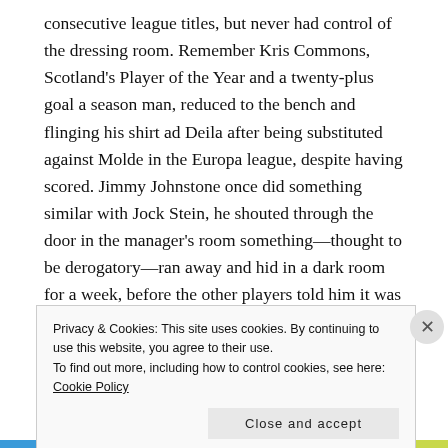consecutive league titles, but never had control of the dressing room. Remember Kris Commons, Scotland's Player of the Year and a twenty-plus goal a season man, reduced to the bench and flinging his shirt ad Deila after being substituted against Molde in the Europa league, despite having scored. Jimmy Johnstone once did something similar with Jock Stein, he shouted through the door in the manager's room something—thought to be derogatory—ran away and hid in a dark room for a week, before the other players told him it was safe to come out. Deila was on the way out when Rangers beat us in the Scottish Cup, despite their team being in the First Division.
Privacy & Cookies: This site uses cookies. By continuing to use this website, you agree to their use. To find out more, including how to control cookies, see here: Cookie Policy